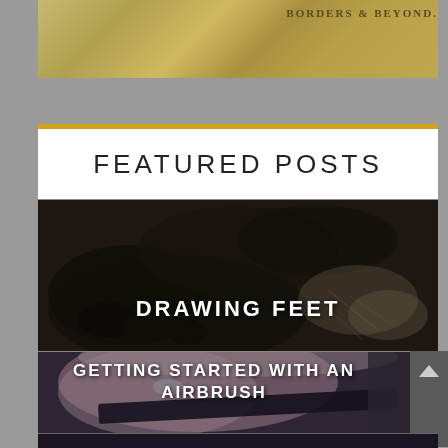[Figure (illustration): Partial view of an old parchment map or document with text 'BORDERS & BEYOND' visible in the upper right]
FEATURED POSTS
[Figure (photo): Dark charcoal drawing/sketch of human feet with detailed anatomical studies of feet sketched in the background]
DRAWING FEET
[Figure (photo): Close-up airbrush artwork of a pale female face with pink/white hair, partially obscured by a dark geometric shape]
GETTING STARTED WITH AN AIRBRUSH